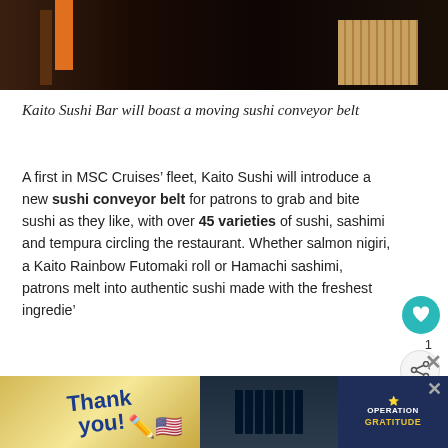[Figure (photo): Top portion of a restaurant interior with dark wood floors, an orange accent element, and wooden slat decoration visible at top of image]
Kaito Sushi Bar will boast a moving sushi conveyor belt
A first in MSC Cruises’ fleet, Kaito Sushi will introduce a new sushi conveyor belt for patrons to grab and bite sushi as they like, with over 45 varieties of sushi, sashimi and tempura circling the restaurant. Whether salmon nigiri, a Kaito Rainbow Futomaki roll or Hamachi sashimi, patrons melt into authentic sushi made with the freshest ingredie’
In addition to new concepts, MSC Cruises’ mainstays
[Figure (photo): Advertisement banner at bottom: Thank you note with American flag pencil on left, group photo of people in dark uniforms in middle, Operation Gratitude logo on right]